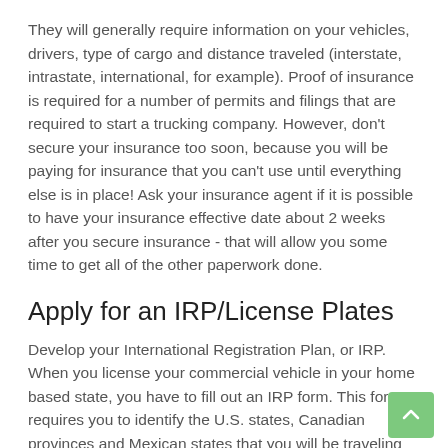They will generally require information on your vehicles, drivers, type of cargo and distance traveled (interstate, intrastate, international, for example). Proof of insurance is required for a number of permits and filings that are required to start a trucking company. However, don't secure your insurance too soon, because you will be paying for insurance that you can't use until everything else is in place! Ask your insurance agent if it is possible to have your insurance effective date about 2 weeks after you secure insurance - that will allow you some time to get all of the other paperwork done.
Apply for an IRP/License Plates
Develop your International Registration Plan, or IRP. When you license your commercial vehicle in your home based state, you have to fill out an IRP form. This form requires you to identify the U.S. states, Canadian provinces and Mexican states that you will be traveling in. This form also requires you to estimate the number of miles that will